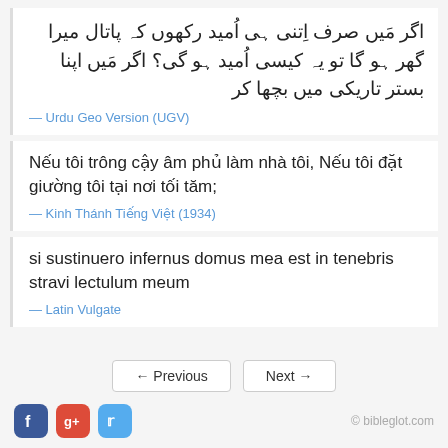اگر مَیں صرف اِتنی ہی اُمید رکھوں کہ پاتال میرا گھر ہو گا تو یہ کیسی اُمید ہو گی؟ اگر مَیں اپنا بستر تاریکی میں بچھا کر
— Urdu Geo Version (UGV)
Nếu tôi trông cậy âm phủ làm nhà tôi, Nếu tôi đặt giường tôi tại nơi tối tăm;
— Kinh Thánh Tiếng Việt (1934)
si sustinuero infernus domus mea est in tenebris stravi lectulum meum
— Latin Vulgate
← Previous   Next →
© bibleglot.com